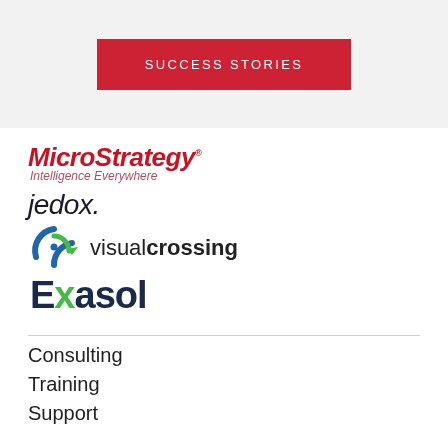[Figure (other): Success Stories button — red rectangular button with white uppercase text 'SUCCESS STORIES' on a light grey background]
[Figure (logo): MicroStrategy logo — italic bold red text 'MicroStrategy' with small superscript dot, subtitle 'Intelligence Everywhere' in italic rose text]
[Figure (logo): Jedox logo — italic thin dark text 'jedox.' with period]
[Figure (logo): Visual Crossing logo — circular arrow icon in blue and green with text 'visualcrossing' where 'crossing' is bold]
[Figure (logo): Exasol logo — dark navy bold text 'Exasol' with green 'x']
Consulting
Training
Support